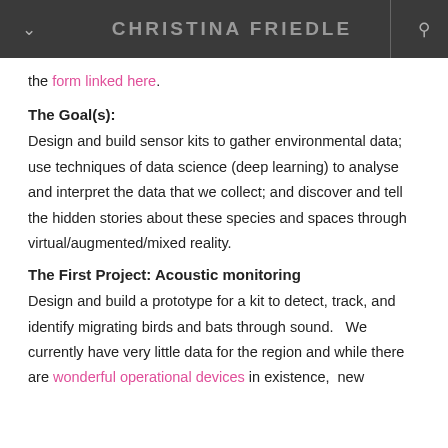CHRISTINA FRIEDLE
the form linked here.
The Goal(s):
Design and build sensor kits to gather environmental data; use techniques of data science (deep learning) to analyse and interpret the data that we collect; and discover and tell the hidden stories about these species and spaces through virtual/augmented/mixed reality.
The First Project: Acoustic monitoring
Design and build a prototype for a kit to detect, track, and identify migrating birds and bats through sound.   We currently have very little data for the region and while there are wonderful operational devices in existence,  new